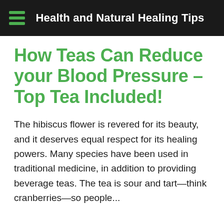Health and Natural Healing Tips
How Teas Can Reduce your Blood Pressure – Top Tea Included!
The hibiscus flower is revered for its beauty, and it deserves equal respect for its healing powers. Many species have been used in traditional medicine, in addition to providing beverage teas. The tea is sour and tart—think cranberries—so people...